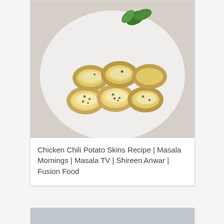[Figure (photo): Photo of chicken chili potato skins topped with melted cheese and herbs, served on a white scalloped plate with green garnish]
Chicken Chili Potato Skins Recipe | Masala Mornings | Masala TV | Shireen Anwar | Fusion Food
[Figure (photo): Photo of a chicken dish served over coarse grain or cracked wheat on a rectangular white plate, on a gray background]